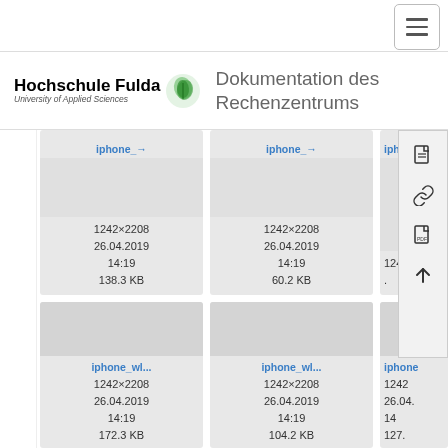Hochschule Fulda University of Applied Sciences — Dokumentation des Rechenzentrums
[Figure (screenshot): File manager grid view showing image thumbnails named iphone_wl... with metadata: dimensions 1242×2208, date 26.04.2019 14:19, and file sizes 138.3 KB, 60.2 KB, 1242 (partial). Second row shows iphone_wl... thumbnails with sizes 172.3 KB, 104.2 KB, 127. (partial).]